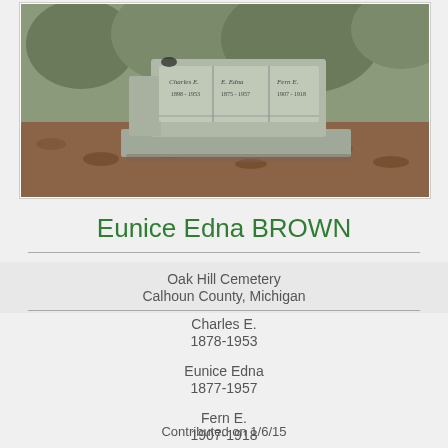[Figure (photo): Photograph of a granite gravestone monument with three name panels reading: Charles E. 1898-1953, E. Edna 1875-1957, Fern E. 1907-1918. Stone is gray, set on a base, surrounded by fallen leaves.]
Eunice Edna BROWN
Oak Hill Cemetery
Calhoun County, Michigan
Charles E.
1878-1953
Eunice Edna
1877-1957
Fern E.
1907-1918
Contributed on 1/6/15